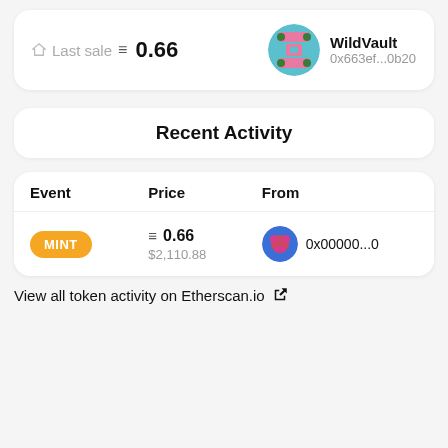Last sale ≡ 0.66
WildVault
0x663ef...0b20
Recent Activity
| Event | Price | From |
| --- | --- | --- |
| MINT | ≡ 0.66
$2,110.88 | 0x00000...0 |
View all token activity on Etherscan.io ↗